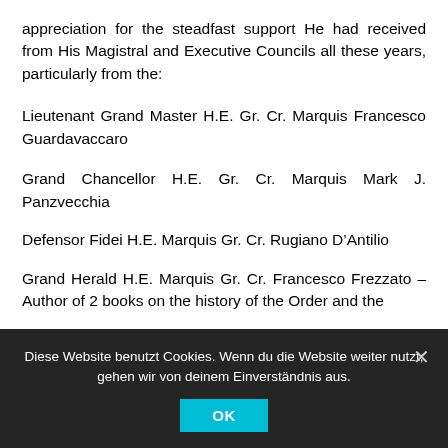appreciation for the steadfast support He had received from His Magistral and Executive Councils all these years, particularly from the:
Lieutenant Grand Master H.E. Gr. Cr. Marquis Francesco Guardavaccaro
Grand Chancellor H.E. Gr. Cr. Marquis Mark J. Panzvecchia
Defensor Fidei H.E. Marquis Gr. Cr. Rugiano D'Antilio
Grand Herald H.E. Marquis Gr. Cr. Francesco Frezzato – Author of 2 books on the history of the Order and the
Diese Website benutzt Cookies. Wenn du die Website weiter nutzt, gehen wir von deinem Einverständnis aus.